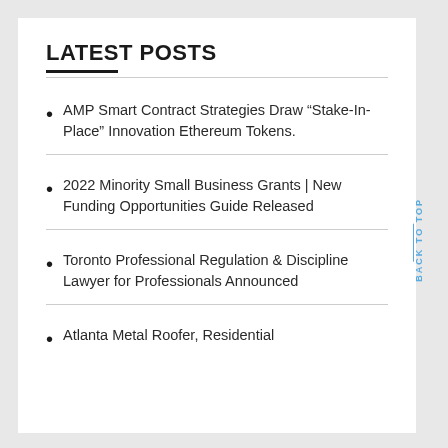LATEST POSTS
AMP Smart Contract Strategies Draw “Stake-In-Place” Innovation Ethereum Tokens.
2022 Minority Small Business Grants | New Funding Opportunities Guide Released
Toronto Professional Regulation & Discipline Lawyer for Professionals Announced
Atlanta Metal Roofer, Residential